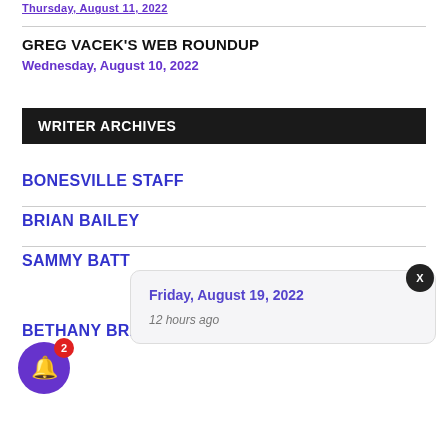Thursday, August 11, 2022
GREG VACEK'S WEB ROUNDUP
Wednesday, August 10, 2022
WRITER ARCHIVES
BONESVILLE STAFF
BRIAN BAILEY
SAMMY BATT
BETHANY BRADSHER
Friday, August 19, 2022
12 hours ago